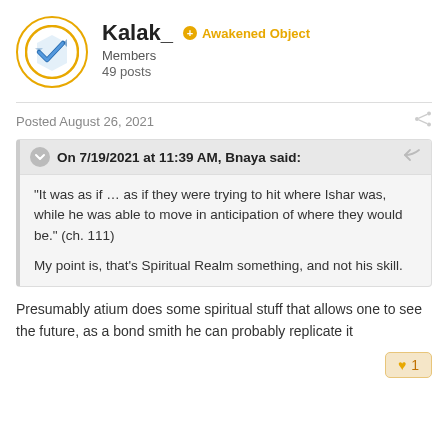[Figure (logo): Forum user avatar icon with blue checkmark inside a circle with orange border]
Kalak_
Awakened Object
Members
49 posts
Posted August 26, 2021
On 7/19/2021 at 11:39 AM, Bnaya said:
"It was as if … as if they were trying to hit where Ishar was, while he was able to move in anticipation of where they would be." (ch. 111)

My point is, that's Spiritual Realm something, and not his skill.
Presumably atium does some spiritual stuff that allows one to see the future, as a bond smith he can probably replicate it